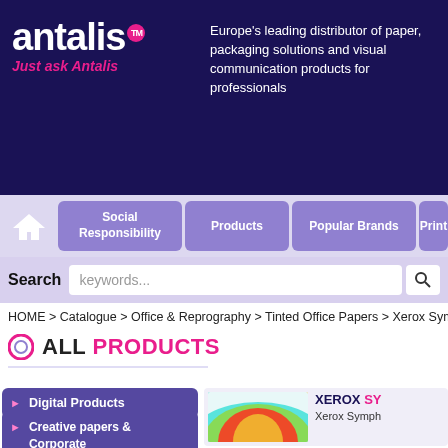[Figure (logo): Antalis logo with TM mark and tagline 'Just ask Antalis' on dark navy background]
Europe's leading distributor of paper, packaging solutions and visual communication products for professionals
[Figure (screenshot): Navigation bar with Social Responsibility, Products, Popular Brands, Print tabs]
Search  keywords...
HOME > Catalogue > Office & Reprography > Tinted Office Papers > Xerox Sympho
ALL PRODUCTS
Digital Products
Creative papers & Corporate Communication
Creative Papers Split Packs
Coated Papers
[Figure (photo): Colorful fanned out paper pages showing tinted office papers]
XEROX SY
Xerox Symph